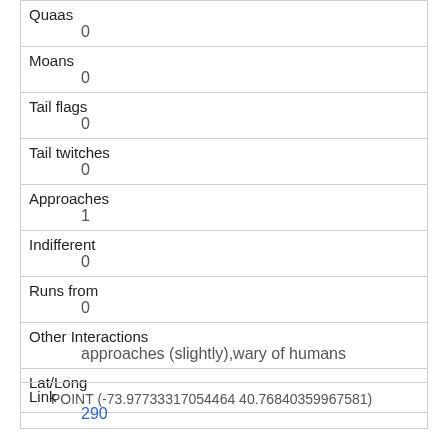| Quaas | 0 |
| Moans | 0 |
| Tail flags | 0 |
| Tail twitches | 0 |
| Approaches | 1 |
| Indifferent | 0 |
| Runs from | 0 |
| Other Interactions | approaches (slightly),wary of humans |
| Lat/Long | POINT (-73.97733317054464 40.76840359967581) |
| Link | 290 |